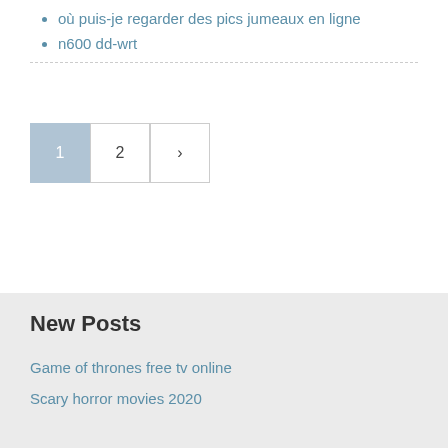où puis-je regarder des pics jumeaux en ligne
n600 dd-wrt
[Figure (other): Pagination controls showing page 1 (active/highlighted), page 2, and a next arrow button]
New Posts
Game of thrones free tv online
Scary horror movies 2020